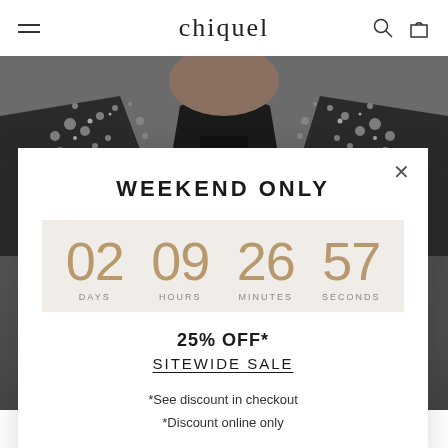chiquel
[Figure (photo): Person wearing an embellished black leather jacket with crystal/rhinestone collar details, black top underneath, cropped to show neck and shoulders against gray background]
WEEKEND ONLY
[Figure (infographic): Countdown timer showing 02 DAYS 09 HOURS 26 MINUTES 57 SECONDS on a light beige background]
25% OFF*
SITEWIDE SALE
*See discount in checkout
*Discount online only
SWING